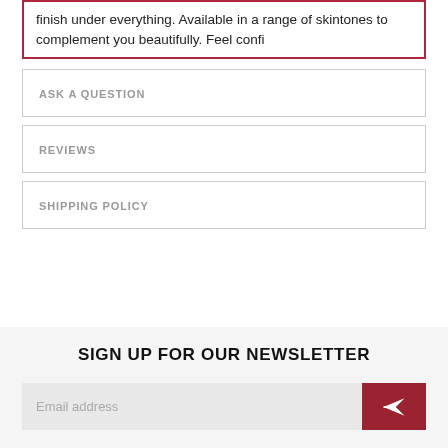finish under everything. Available in a range of skintones to complement you beautifully. Feel confi
ASK A QUESTION
REVIEWS
SHIPPING POLICY
SIGN UP FOR OUR NEWSLETTER
Email address